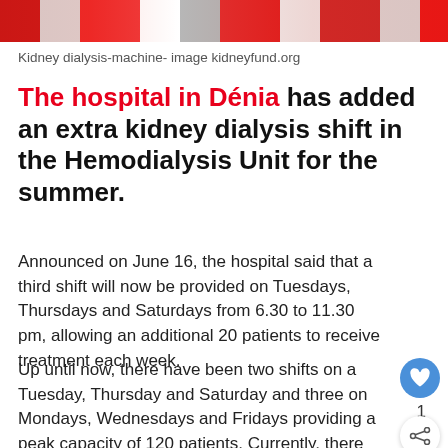[Figure (photo): Partial view of a kidney dialysis machine, image from kidneyfund.org — cropped decorative banner at top of page]
Kidney dialysis-machine- image kidneyfund.org
The hospital in Dénia has added an extra kidney dialysis shift in the Hemodialysis Unit for the summer.
Announced on June 16, the hospital said that a third shift will now be provided on Tuesdays, Thursdays and Saturdays from 6.30 to 11.30 pm, allowing an additional 20 patients to receive treatment each week.
Up until now, there have been two shifts on a Tuesday, Thursday and Saturday and three on Mondays, Wednesdays and Fridays providing a peak capacity of 120 patients. Currently, there are 97 receiving treatment in hospital with a further three receiving treatment at